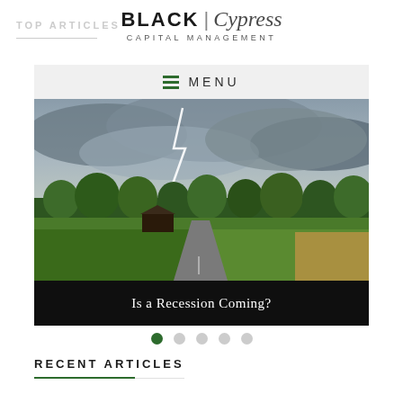TOP ARTICLES
[Figure (logo): Black Cypress Capital Management logo with serif and italic script lettering]
MENU
[Figure (photo): Rural countryside landscape with stormy sky, lightning bolt, green fields, trees, a barn and a winding road. Caption: Is a Recession Coming?]
Is a Recession Coming?
RECENT ARTICLES